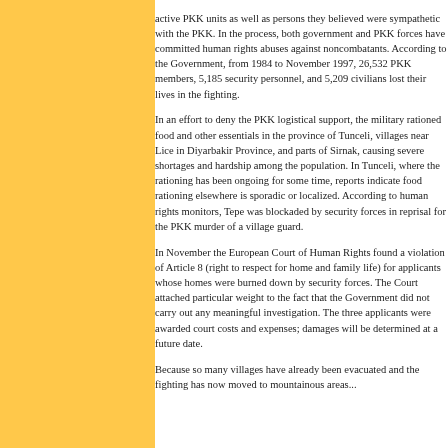active PKK units as well as persons they believed were sympathetic with the PKK. In the process, both government and PKK forces have committed human rights abuses against noncombatants. According to the Government, from 1984 to November 1997, 26,532 PKK members, 5,185 security personnel, and 5,209 civilians lost their lives in the fighting.
In an effort to deny the PKK logistical support, the military rationed food and other essentials in the province of Tunceli, villages near Lice in Diyarbakir Province, and parts of Sirnak, causing severe shortages and hardship among the population. In Tunceli, where the rationing has been ongoing for some time, reports indicate food rationing elsewhere is sporadic or localized. According to human rights monitors, Tepe was blockaded by security forces in reprisal for the PKK murder of a village guard.
In November the European Court of Human Rights found a violation of Article 8 (right to respect for home and family life) for applicants whose homes were burned down by security forces. The Court attached particular weight to the fact that the Government did not carry out any meaningful investigation. The three applicants were awarded court costs and expenses; damages will be determined at a future date.
Because so many villages have already been evacuated and the fighting has now moved to mountainous areas...